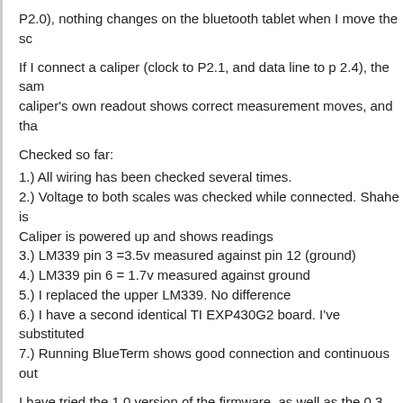P2.0), nothing changes on the bluetooth tablet when I move the sc
If I connect a caliper (clock to P2.1, and data line to p 2.4), the sam caliper's own readout shows correct measurement moves, and tha
Checked so far:
1.) All wiring has been checked several times.
2.) Voltage to both scales was checked while connected. Shahe is Caliper is powered up and shows readings
3.) LM339 pin 3 =3.5v measured against pin 12 (ground)
4.) LM339 pin 6 = 1.7v measured against ground
5.) I replaced the upper LM339. No difference
6.) I have a second identical TI EXP430G2 board. I've substituted
7.) Running BlueTerm shows good connection and continuous out
I have tried the 1.0 version of the firmware, as well as the 0.3 vers
I can return to Basic igaging mode firmware and the Shahe scale a fine.
Any suggestions? This is really driving me nuts.